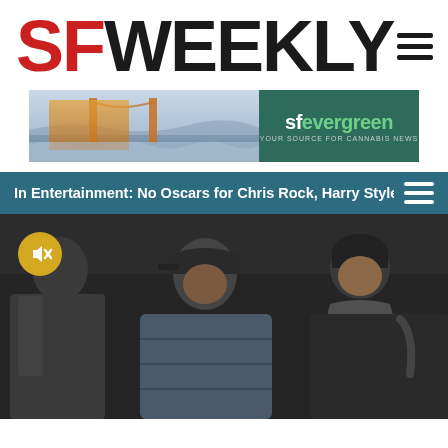[Figure (logo): SF Weekly logo with SF in red and WEEKLY in dark gray/black, large bold text]
[Figure (photo): Advertisement banner for sfevergreen - YOUR SOURCE FOR CANNABIS NEWS, with Golden Gate Bridge image on left and green background with logo on right]
In Entertainment: No Oscars for Chris Rock, Harry Styles & MC...
[Figure (photo): Photo of three men walking outdoors in winter clothing. Center man wears a Detroit Tigers baseball cap and puffer jacket. Right man wears a beanie and scarf. Yellow mute button icon in lower left corner.]